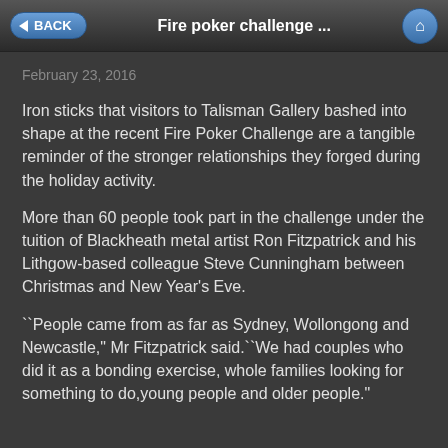Fire poker challenge ...
February 23, 2016
Iron sticks that visitors to Talisman Gallery bashed into shape at the recent Fire Poker Challenge are a tangible reminder of the stronger relationships they forged during the holiday activity.
More than 60 people took part in the challenge under the tuition of Blackheath metal artist Ron Fitzpatrick and his Lithgow-based colleague Steve Cunningham between Christmas and New Year’s Eve.
``People came from as far as Sydney, Wollongong and Newcastle," Mr Fitzpatrick said.``We had couples who did it as a bonding exercise, whole families looking for something to do,young people and older people."